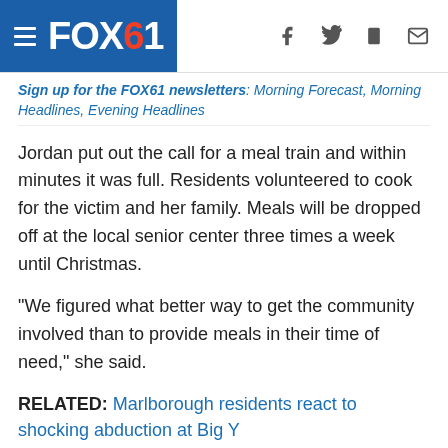FOX61 — navigation header with hamburger menu, logo, and social icons (f, twitter, mobile, mail)
Sign up for the FOX61 newsletters: Morning Forecast, Morning Headlines, Evening Headlines
Jordan put out the call for a meal train and within minutes it was full. Residents volunteered to cook for the victim and her family. Meals will be dropped off at the local senior center three times a week until Christmas.
"We figured what better way to get the community involved than to provide meals in their time of need," she said.
RELATED: Marlborough residents react to shocking abduction at Big Y
Other residents have committed to making homemade knitted blankets, while some businesses are offering their services.
"I can offer my knowledge and services to everybody," said Michael Hwang, who owns Hwang's Tae Kwon-Do studio